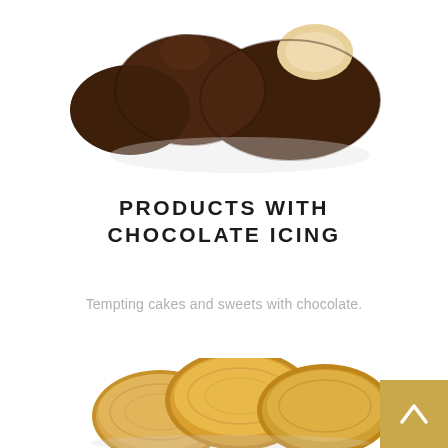[Figure (photo): Chocolate-dipped cream puffs or pastries coated in dark chocolate, with one showing the light-colored interior, on white background]
PRODUCTS WITH CHOCOLATE ICING
Tempting cakes and sweets with chocolate.
[Figure (photo): Golden-brown round crackers or biscuits on a white background]
[Figure (other): Gold/tan colored scroll-to-top button with upward arrow in bottom-right corner]